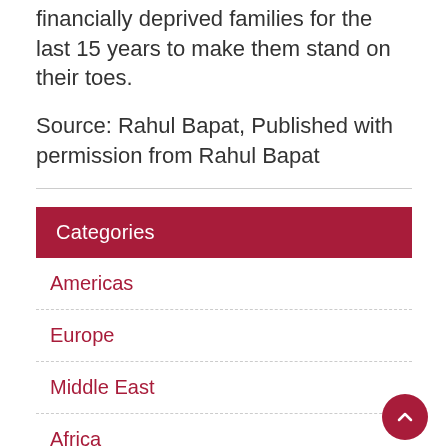financially deprived families for the last 15 years to make them stand on their toes.
Source: Rahul Bapat, Published with permission from Rahul Bapat
Categories
Americas
Europe
Middle East
Africa